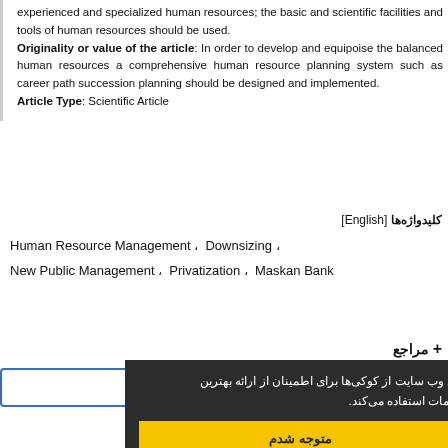experienced and specialized human resources; the basic and scientific facilities and tools of human resources should be used. Originality or value of the article: In order to develop and equipoise the balanced human resources a comprehensive human resource planning system such as career path succession planning should be designed and implemented. Article Type: Scientific Article
کلیدواژه‌ها [English]
Human Resource Management، Downsizing، New Public Management، Privatization، Maskan Bank
+ مراجع
شماره پیاپی 45
این وب سایت از کوکی‌ها برای اطمینان از ارائه بهترین خدمات استفاده می‌کند.
متوجه شدم